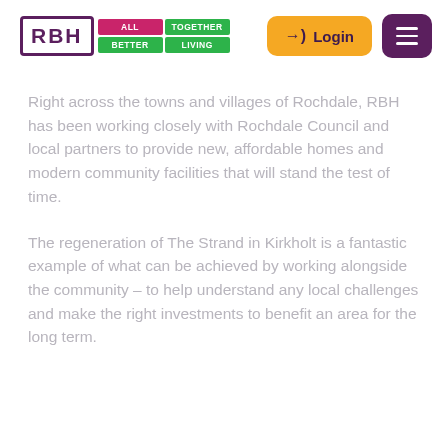[Figure (logo): RBH logo with tagline: ALL TOGETHER BETTER LIVING, followed by Login button and hamburger menu]
Right across the towns and villages of Rochdale, RBH has been working closely with Rochdale Council and local partners to provide new, affordable homes and modern community facilities that will stand the test of time.
The regeneration of The Strand in Kirkholt is a fantastic example of what can be achieved by working alongside the community – to help understand any local challenges and make the right investments to benefit an area for the long term.